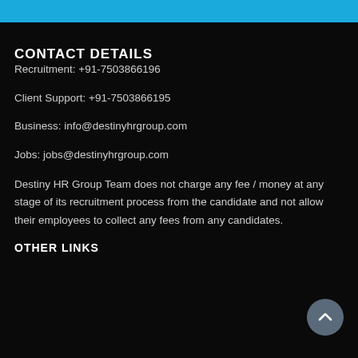CONTACT DETAILS
Recruitment: +91-7503866196
Client Support: +91-7503866195
Business: info@destinyhrgroup.com
Jobs: jobs@destinyhrgroup.com
Destiny HR Group Team does not charge any fee / money at any stage of its recruitment process from the candidate and not allow their employees to collect any fees from any candidates.
OTHER LINKS